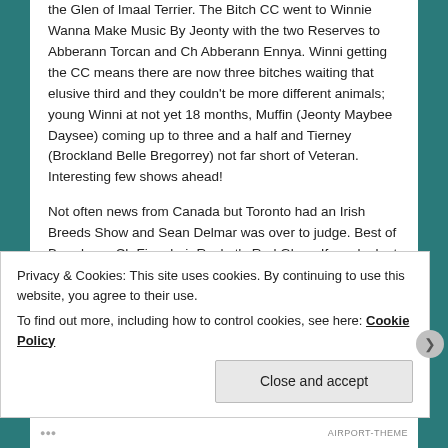the Glen of Imaal Terrier. The Bitch CC went to Winnie Wanna Make Music By Jeonty with the two Reserves to Abberann Torcan and Ch Abberann Ennya. Winni getting the CC means there are now three bitches waiting that elusive third and they couldn't be more different animals; young Winni at not yet 18 months, Muffin (Jeonty Maybee Daysee) coming up to three and a half and Tierney (Brockland Belle Bregorrey) not far short of Veteran. Interesting few shows ahead!
Not often news from Canada but Toronto had an Irish Breeds Show and Sean Delmar was over to judge. Best of Breed was Ch Finnabair Rocket's Red Glare. If you look at the BOB special award that Sean is holding it's the aforementioned Homer.
Privacy & Cookies: This site uses cookies. By continuing to use this website, you agree to their use.
To find out more, including how to control cookies, see here: Cookie Policy